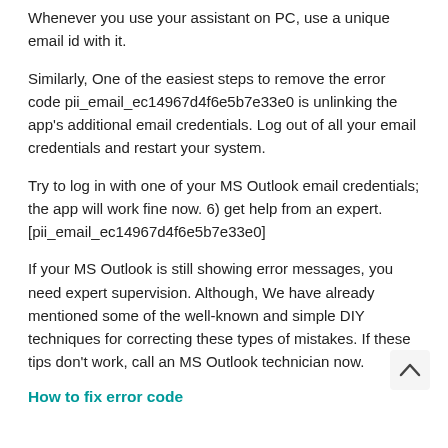Whenever you use your assistant on PC, use a unique email id with it.
Similarly, One of the easiest steps to remove the error code pii_email_ec14967d4f6e5b7e33e0 is unlinking the app's additional email credentials. Log out of all your email credentials and restart your system.
Try to log in with one of your MS Outlook email credentials; the app will work fine now. 6) get help from an expert. [pii_email_ec14967d4f6e5b7e33e0]
If your MS Outlook is still showing error messages, you need expert supervision. Although, We have already mentioned some of the well-known and simple DIY techniques for correcting these types of mistakes. If these tips don't work, call an MS Outlook technician now.
How to fix error code